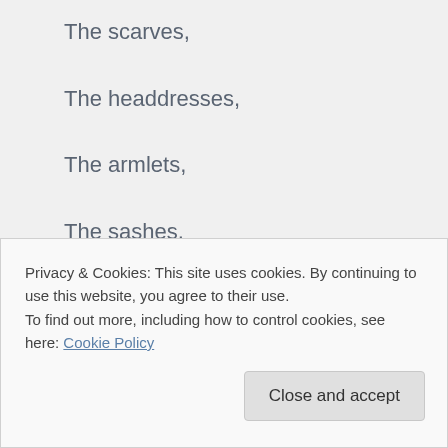The scarves,
The headdresses,
The armlets,
The sashes,
The perfume boxes,
Privacy & Cookies: This site uses cookies. By continuing to use this website, you agree to their use.
To find out more, including how to control cookies, see here: Cookie Policy